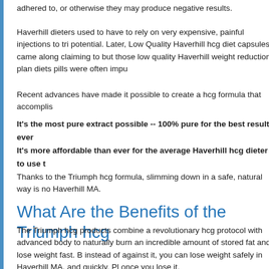adhered to, or otherwise they may produce negative results.
Haverhill dieters used to have to rely on very expensive, painful injections to tri potential. Later, Low Quality Haverhill hcg diet capsules came along claiming to but those low quality Haverhill weight reduction plan diets pills were often impu
Recent advances have made it possible to create a hcg formula that accomplis
It's the most pure extract possible -- 100% pure for the best results ever
It's more affordable than ever for the average Haverhill hcg dieter to use t
Thanks to the Triumph hcg formula, slimming down in a safe, natural way is no Haverhill MA.
What Are the Benefits of the Triumph hcg
The Triumph hcg products combine a revolutionary hcg protocol with advanced body to naturally burn an incredible amount of stored fat and lose weight fast. B instead of against it, you can lose weight safely in Haverhill MA, and quickly. Pl once you lose it.
Burns Fat Fast
The 100% pure Triumph hcg formula helps your body burn a lot of sto pounds to melt away quickly.